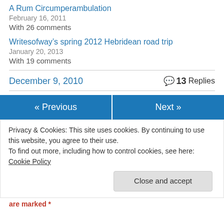A Rum Circumperambulation
February 16, 2011
With 26 comments
Writesofway’s spring 2012 Hebridean road trip
January 20, 2013
With 19 comments
December 9, 2010    13 Replies
« Previous
Next »
Privacy & Cookies: This site uses cookies. By continuing to use this website, you agree to their use.
To find out more, including how to control cookies, see here: Cookie Policy
Close and accept
are marked *